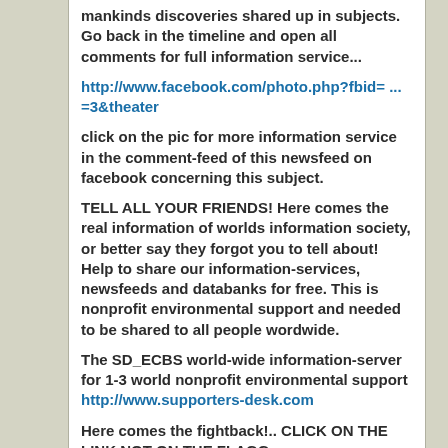mankinds discoveries shared up in subjects. Go back in the timeline and open all comments for full information service...
http://www.facebook.com/photo.php?fbid= ... =3&theater
click on the pic for more information service in the comment-feed of this newsfeed on facebook concerning this subject.
TELL ALL YOUR FRIENDS! Here comes the real information of worlds information society, or better say they forgot you to tell about! Help to share our information-services, newsfeeds and databanks for free. This is nonprofit environmental support and needed to be shared to all people wordwide.
The SD_ECBS world-wide information-server
for 1-3 world nonprofit environmental support
http://www.supporters-desk.com
Here comes the fightback!.. CLICK ON THE LINK NOT ON THE FLAGG